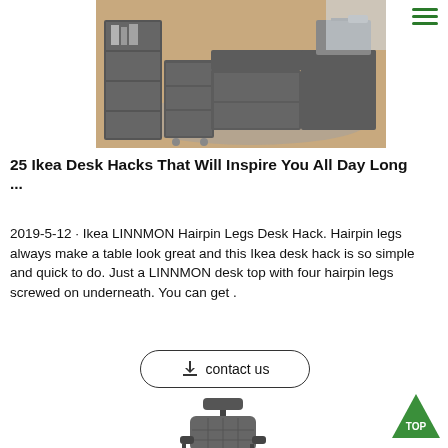[Figure (photo): Photo of a modern L-shaped office desk setup with filing cabinet and bookshelf, grey wood finish, on hardwood floor]
25 Ikea Desk Hacks That Will Inspire You All Day Long ...
2019-5-12 · Ikea LINNMON Hairpin Legs Desk Hack. Hairpin legs always make a table look great and this Ikea desk hack is so simple and quick to do. Just a LINNMON desk top with four hairpin legs screwed on underneath. You can get .
[Figure (other): Contact us button with download icon]
[Figure (other): TOP back-to-top green triangle button]
[Figure (photo): Photo of a grey mesh ergonomic office chair with headrest and armrests]